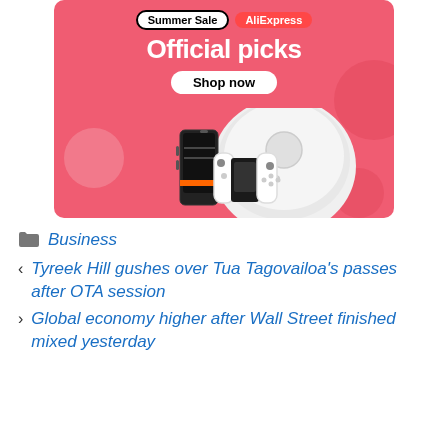[Figure (infographic): AliExpress Summer Sale advertisement banner with pink/red background showing 'Summer Sale' and 'AliExpress' badges, 'Official picks' headline, 'Shop now' button, and product images including a robot vacuum, a smartphone, and a Nintendo Switch console.]
Business
Tyreek Hill gushes over Tua Tagovailoa’s passes after OTA session
Global economy higher after Wall Street finished mixed yesterday